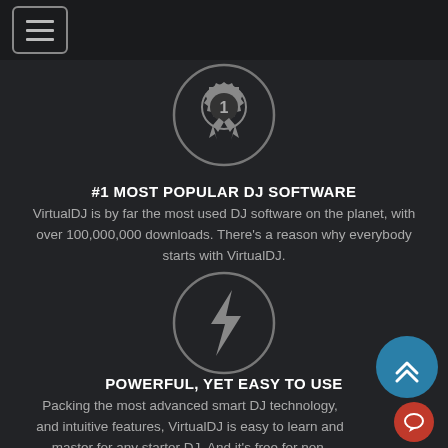[Figure (screenshot): Mobile app navigation bar with hamburger menu icon (three horizontal lines in a rounded rectangle border)]
[Figure (illustration): Award ribbon / medal icon with number 1 inside a gear-like circle, inside a larger circle outline, on dark background]
#1 MOST POPULAR DJ SOFTWARE
VirtualDJ is by far the most used DJ software on the planet, with over 100,000,000 downloads. There's a reason why everybody starts with VirtualDJ.
[Figure (illustration): Lightning bolt / power icon inside a circle outline, on dark background]
POWERFUL, YET EASY TO USE
Packing the most advanced smart DJ technology, and intuitive features, VirtualDJ is easy to learn and master for any starter DJ. And it's free for non-professional use.